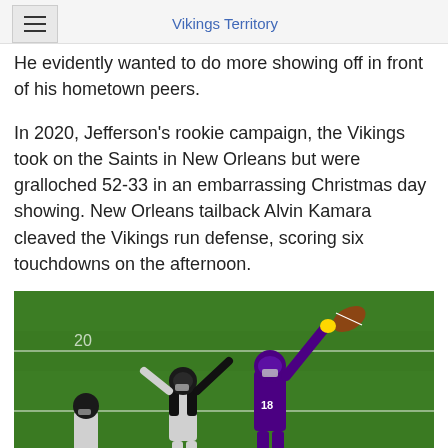Vikings Territory
He evidently wanted to do more showing off in front of his hometown peers.
In 2020, Jefferson's rookie campaign, the Vikings took on the Saints in New Orleans but were gralloched 52-33 in an embarrassing Christmas day showing. New Orleans tailback Alvin Kamara cleaved the Vikings run defense, scoring six touchdowns on the afternoon.
[Figure (photo): Football game action shot showing a Vikings player #18 in purple uniform reaching up with one arm to catch a football, with a Saints defender in white and black uniform nearby, on a green football field]